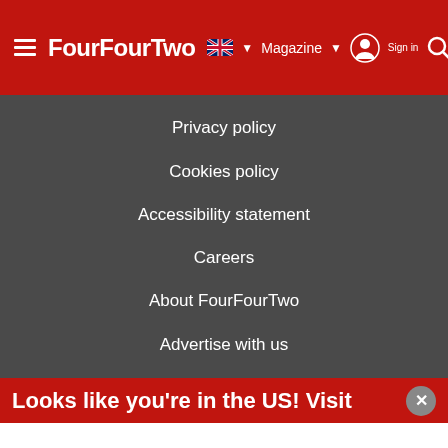FourFourTwo — Magazine | Sign in
Privacy policy
Cookies policy
Accessibility statement
Careers
About FourFourTwo
Advertise with us
Looks like you're in the US! Visit